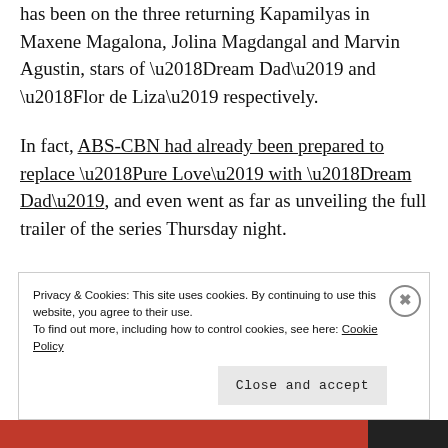has been on the three returning Kapamilyas in Maxene Magalona, Jolina Magdangal and Marvin Agustin, stars of ‘Dream Dad’ and ‘Flor de Liza’ respectively.
In fact, ABS-CBN had already been prepared to replace ‘Pure Love’ with ‘Dream Dad’, and even went as far as unveiling the full trailer of the series Thursday night.
Privacy & Cookies: This site uses cookies. By continuing to use this website, you agree to their use.
To find out more, including how to control cookies, see here: Cookie Policy
Close and accept